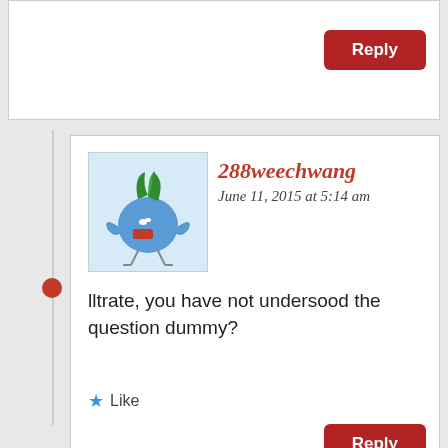Reply
288weechwang
June 11, 2015 at 5:14 am
[Figure (illustration): Cartoon avatar of a blue turnip/beet character with green leaves on top, standing on thin legs, with a red label/tag]
lltrate, you have not undersood the question dummy?
Like
Reply
Adut Magoes
Advertisements
Search, browse, and email with more privacy. All in One Free App
[Figure (logo): DuckDuckGo logo — orange circular duck icon with text DuckDuckGo]